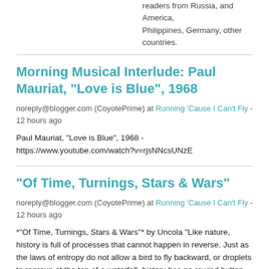readers from Russia, and America, Philippines, Germany, other countries.
Morning Musical Interlude: Paul Mauriat, "Love is Blue", 1968
noreply@blogger.com (CoyotePrime) at Running 'Cause I Can't Fly - 12 hours ago
Paul Mauriat, "Love is Blue", 1968 - https://www.youtube.com/watch?v=rjsNNcsUNzE
“Of Time, Turnings, Stars & Wars”
noreply@blogger.com (CoyotePrime) at Running 'Cause I Can't Fly - 12 hours ago
*“Of Time, Turnings, Stars & Wars”* by Uncola “Like nature, history is full of processes that cannot happen in reverse. Just as the laws of entropy do not allow a bird to fly backward, or droplets to regroup at the top of a waterfall, history has no rewind button. Like the seasons of nature, it moves only forward.” - Strauss and Howe: “The Fourth Turning”, First Edition, page 255 “Contemplating the concept of time can be quite confounding, to say the least. In the extreme,